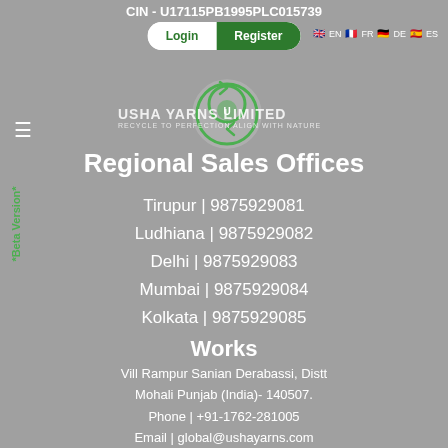CIN - U17115PB1995PLC015739
Login | Register | EN FR DE ES
[Figure (logo): Usha Yarns Limited circular green logo with leaf and recycling arrow motif. Tagline: RECYCLE TO PERFECTION ALIGN WITH NATURE]
Regional Sales Offices
Tirupur | 9875929081
Ludhiana | 9875929082
Delhi | 9875929083
Mumbai | 9875929084
Kolkata | 9875929085
Works
Vill Rampur Sanian Derabassi, Distt Mohali Punjab (India)- 140507.
Phone | +91-1762-281005
Email | global@ushayarns.com
GST No. : 03AAACU1917D1ZY
*Beta Version*